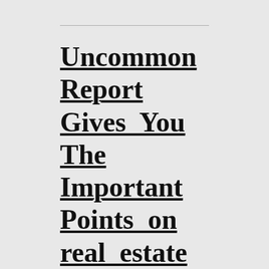Uncommon Report Gives You The Important Points on real estate agent That Only A Few